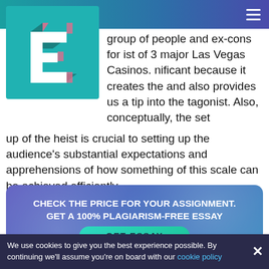[Figure (logo): Logo with 3D letter E on teal background]
group of people and ex-cons for ist of 3 major Las Vegas Casinos. nificant because it creates the and also provides us a tip into the tagonist. Also, conceptually, the set up of the heist is crucial to setting up the audience's substantial expectations and apprehensions of how something of this scale can be achieved efficiently.
CHECK THE PRICE FOR YOUR ASSIGNMENT. GET A 100% PLAGIARISM-FREE ESSAY
GET ESSAY
We use cookies to give you the best experience possible. By continuing we'll assume you're on board with our cookie policy